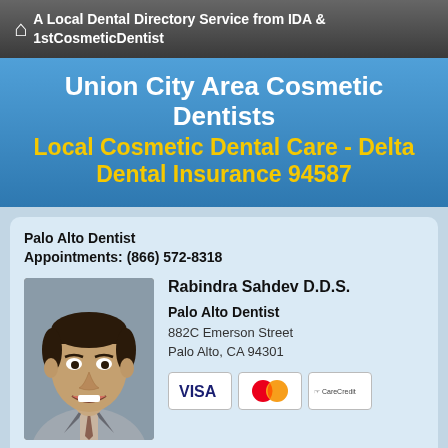A Local Dental Directory Service from IDA & 1stCosmeticDentist
Union City Area Cosmetic Dentists
Local Cosmetic Dental Care - Delta Dental Insurance 94587
Palo Alto Dentist
Appointments: (866) 572-8318
[Figure (photo): Headshot photo of Rabindra Sahdev D.D.S., a middle-aged man in a suit and tie, smiling]
Rabindra Sahdev D.D.S.
Palo Alto Dentist
882C Emerson Street
Palo Alto, CA 94301
[Figure (infographic): Payment method logos: VISA, MasterCard, CareCredit]
Make Appt   Meet Dr. Sahdev   Website
more info ...